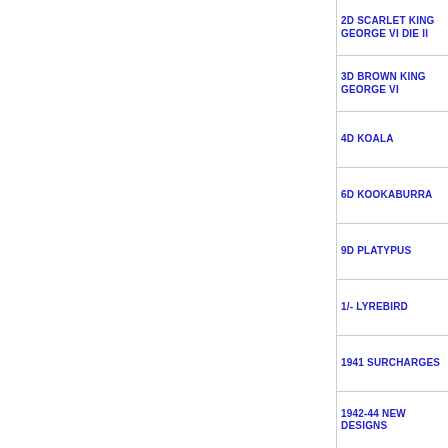2D SCARLET KING GEORGE VI DIE II
3D BROWN KING GEORGE VI
4D KOALA
6D KOOKABURRA
9D PLATYPUS
1/- LYREBIRD
1941 SURCHARGES
1942-44 NEW DESIGNS